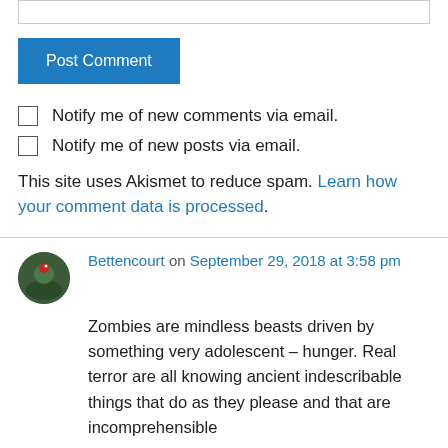[Figure (screenshot): Text input box (comment form field)]
Post Comment
Notify me of new comments via email.
Notify me of new posts via email.
This site uses Akismet to reduce spam. Learn how your comment data is processed.
Bettencourt on September 29, 2018 at 3:58 pm
Zombies are mindless beasts driven by something very adolescent – hunger. Real terror are all knowing ancient indescribable things that do as they please and that are incomprehensible